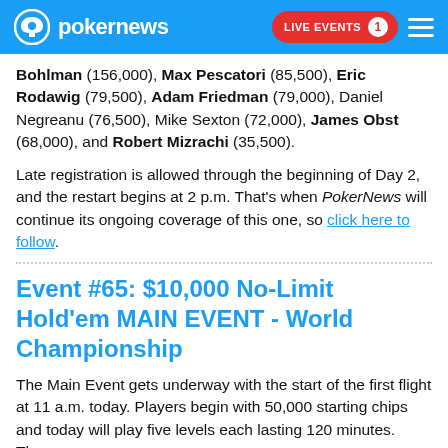pokernews | LIVE EVENTS 1
Bohlman (156,000), Max Pescatori (85,500), Eric Rodawig (79,500), Adam Friedman (79,000), Daniel Negreanu (76,500), Mike Sexton (72,000), James Obst (68,000), and Robert Mizrachi (35,500).
Late registration is allowed through the beginning of Day 2, and the restart begins at 2 p.m. That's when PokerNews will continue its ongoing coverage of this one, so click here to follow.
Event #65: $10,000 No-Limit Hold'em MAIN EVENT - World Championship
The Main Event gets underway with the start of the first flight at 11 a.m. today. Players begin with 50,000 starting chips and today will play five levels each lasting 120 minutes. There are...